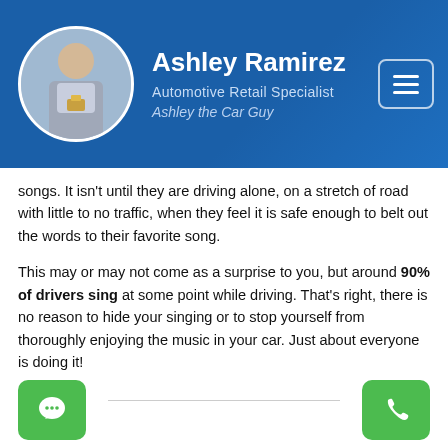Ashley Ramirez — Automotive Retail Specialist — Ashley the Car Guy
songs. It isn't until they are driving alone, on a stretch of road with little to no traffic, when they feel it is safe enough to belt out the words to their favorite song.
This may or may not come as a surprise to you, but around 90% of drivers sing at some point while driving. That's right, there is no reason to hide your singing or to stop yourself from thoroughly enjoying the music in your car. Just about everyone is doing it!
Therefore, be brave and belt it out!